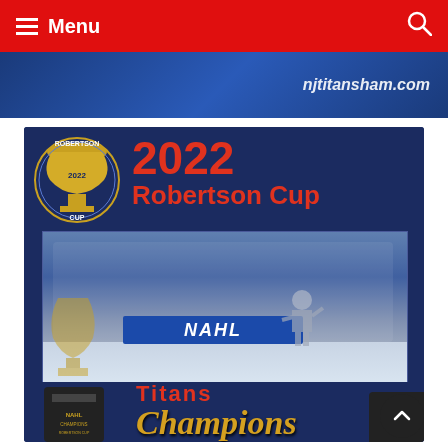Menu
[Figure (photo): Banner strip showing njtitansham.com website advertisement with blue hockey team branding]
[Figure (photo): 2022 Robertson Cup championship promotional image showing NJ Titans NAHL hockey team celebrating on ice with trophy, Robertson Cup logo, Titans logo, and Champions text in gold script]